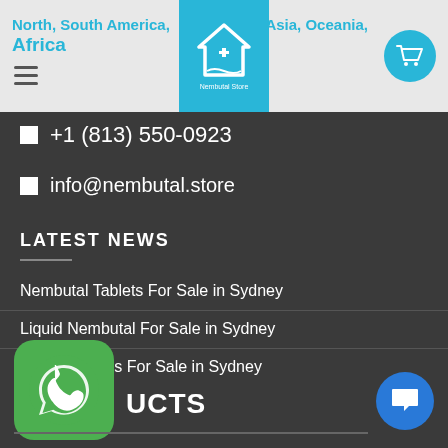North, South America, Africa | Asia, Oceania
+1 (813) 550-0923
info@nembutal.store
LATEST NEWS
Nembutal Tablets For Sale in Sydney
Liquid Nembutal For Sale in Sydney
Nembutal Pills For Sale in Sydney
UCTS